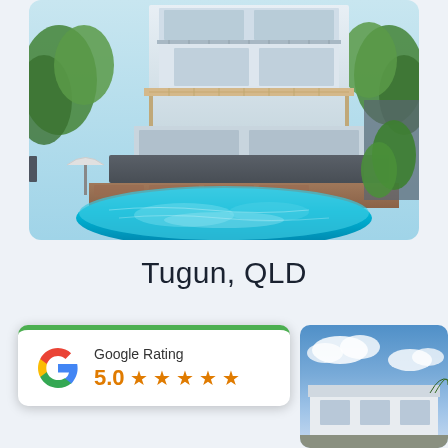[Figure (photo): Aerial/backyard view of a multi-storey white house with balconies surrounded by tropical trees, with a large turquoise swimming pool in the foreground and a brick patio area]
Tugun, QLD
[Figure (infographic): Google Rating widget showing 5.0 stars with five orange star icons and the Google 'G' logo, with a green top border]
[Figure (photo): Partial view of a house exterior with blue sky and clouds in the background]